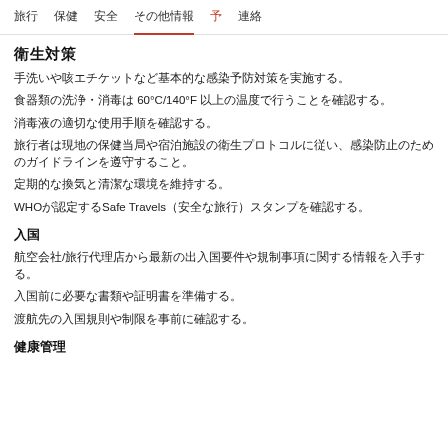旅行　保健　安全　その他情報　予　連絡
衛生対策
手洗いや咳エチケットなど基本的な感染予防対策を実施する。
食器類の洗浄・消毒は 60°C/140°F 以上の温度で行うことを確認する。
消毒液の適切な使用手順を確認する。
旅行者は現地の保健当局や宿泊施設の衛生プロトコルに従い、感染防止のためのガイドラインを遵守すること。
定期的な換気と清潔な環境を維持する。
WHOが認定するSafe Travels（安全な旅行）スタンプを確認する。
入国
航空会社/旅行代理店から最新の出入国要件や規制事項に関する情報を入手する。
入国前に必要な書類や証明書を準備する。
渡航先の入国規則や制限を事前に確認する。
健康管理